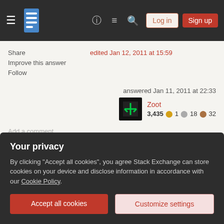Stack Exchange navigation bar with Log in and Sign up buttons
Share
Improve this answer
Follow
edited Jan 12, 2011 at 15:59
answered Jan 11, 2011 at 22:33
Zoot 3,435 ●1 ●18 ●32
Add a comment
You typically put yourself last, like so:
Your privacy
By clicking "Accept all cookies", you agree Stack Exchange can store cookies on your device and disclose information in accordance with our Cookie Policy.
Accept all cookies
Customize settings